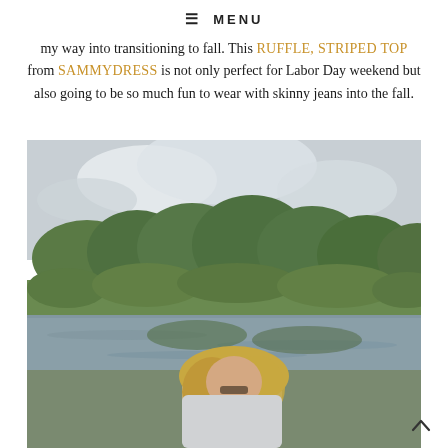MENU
my way into transitioning to fall. This RUFFLE, STRIPED TOP from SAMMYDRESS is not only perfect for Labor Day weekend but also going to be so much fun to wear with skinny jeans into the fall.
[Figure (photo): A woman with blonde wavy hair and sunglasses standing near a pond or lake with green trees in the background on an overcast day. She appears to be wearing a light-colored top.]